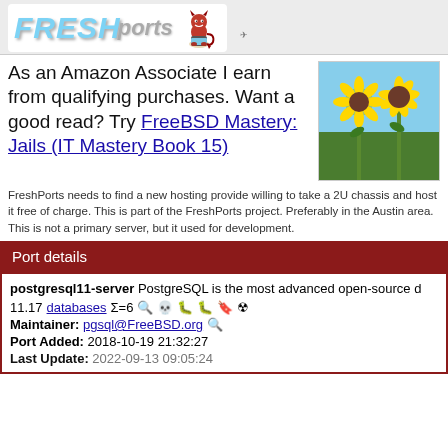[Figure (logo): FreshPorts logo with stylized text and devil mascot]
As an Amazon Associate I earn from qualifying purchases. Want a good read? Try FreeBSD Mastery: Jails (IT Mastery Book 15)
[Figure (photo): Sunflower field photo]
FreshPorts needs to find a new hosting provide willing to take a 2U chassis and host it free of charge. This is part of the FreshPorts project. Preferably in the Austin area. This is not a primary server, but it used for development.
Port details
postgresql11-server PostgreSQL is the most advanced open-source d
11.17 databases Σ=6
Maintainer: pgsql@FreeBSD.org
Port Added: 2018-10-19 21:32:27
Last Update: 2022-09-13 09:05:24